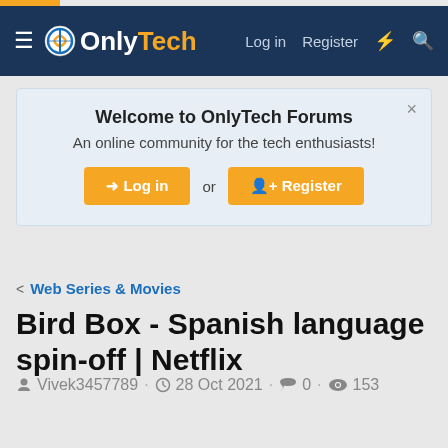OnlyTech — Log in · Register
Welcome to OnlyTech Forums
An online community for the tech enthusiasts!
Log in or Register
< Web Series & Movies
Bird Box - Spanish language spin-off | Netflix
Vivek3457789 · 28 Oct 2021 · 0 · 153